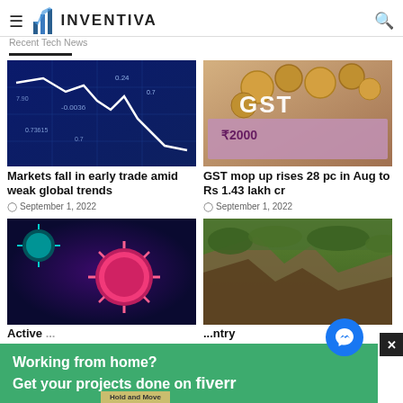≡ INVENTIVA — Recent Tech News
[Figure (photo): Stock market chart showing downward trend with blue background and financial data numbers]
Markets fall in early trade amid weak global trends
September 1, 2022
[Figure (photo): GST letters with Indian rupee coins and 2000 rupee note]
GST mop up rises 28 pc in Aug to Rs 1.43 lakh cr
September 1, 2022
[Figure (photo): COVID-19 virus particles microscopic view with purple and pink colors]
[Figure (photo): Aerial view of cave or natural landscape with greenery]
Active (partial text cut off)
Working from home? Get your projects done on fiverr
Hold and Move